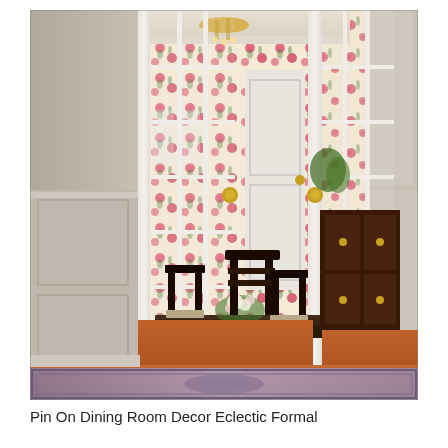[Figure (photo): Interior photograph showing open white French doors leading into a formal dining room. The dining room features floral wallpaper with pink and red roses on a cream background, dark wood dining chairs with beige seat cushions around a dark wood table with a floral centerpiece, a chandelier, warm cherry hardwood floors, and a mahogany sideboard on the right. The foreground shows a gray wainscoted hallway with a patterned area rug.]
Pin On Dining Room Decor Eclectic Formal